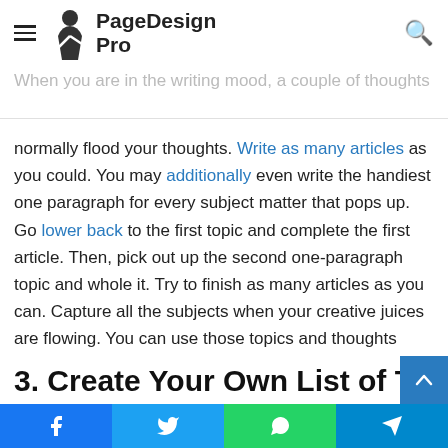PageDesign Pro
2. Multiple Topics
When you are in the writing mood, a couple of thoughts normally flood your thoughts. Write as many articles as you could. You may additionally even write the handiest one paragraph for every subject matter that pops up. Go lower back to the first topic and complete the first article. Then, pick out up the second one-paragraph topic and whole it. Try to finish as many articles as you can. Capture all the subjects when your creative juices are flowing. You can use those topics and thoughts later whilst you enjoy the following blogger's block. Schedule the articles' publishing dates in your dashboard.
3. Create Your Own List of Topics o
Facebook Twitter WhatsApp Telegram